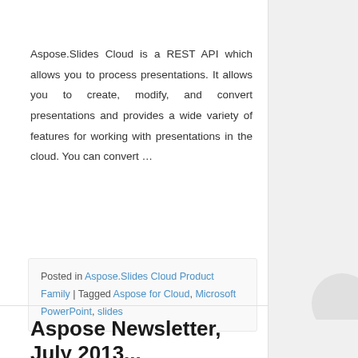Aspose.Slides Cloud is a REST API which allows you to process presentations. It allows you to create, modify, and convert presentations and provides a wide variety of features for working with presentations in the cloud. You can convert …
Posted in Aspose.Slides Cloud Product Family | Tagged Aspose for Cloud, Microsoft PowerPoint, slides
Aspose Newsletter, July 2013...